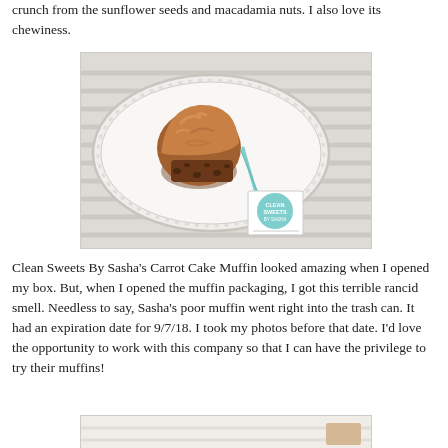crunch from the sunflower seeds and macadamia nuts. I also love its chewiness.
[Figure (photo): Photo of a carrot cake muffin on an oval white platter with a Clean Sweets By Sasha tag tied with a teal ribbon]
Clean Sweets By Sasha's Carrot Cake Muffin looked amazing when I opened my box. But, when I opened the muffin packaging, I got this terrible rancid smell. Needless to say, Sasha's poor muffin went right into the trash can. It had an expiration date for 9/7/18. I took my photos before that date. I'd love the opportunity to work with this company so that I can have the privilege to try their muffins!
[Figure (photo): Partial photo at the bottom of the page, showing another food item or packaging]